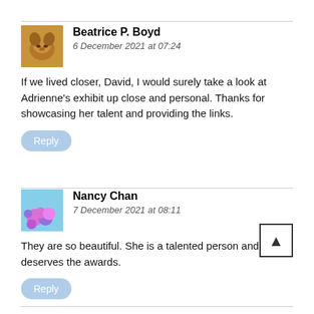Beatrice P. Boyd
6 December 2021 at 07:24
If we lived closer, David, I would surely take a look at Adrienne’s exhibit up close and personal. Thanks for showcasing her talent and providing the links.
Reply
Nancy Chan
7 December 2021 at 08:11
They are so beautiful. She is a talented person and deserves the awards.
Reply